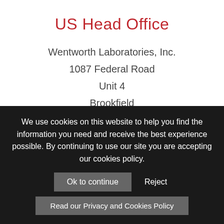US Head Office
Wentworth Laboratories, Inc.
1087 Federal Road
Unit 4
Brookfield
CT 06804
USA
Tel: +1 203-775-0448
[Figure (other): Red email button with envelope icon on right edge]
We use cookies on this website to help you find the information you need and receive the best experience possible. By continuing to use our site you are accepting our cookies policy.
Ok to continue  Reject
Read our Privacy and Cookies Policy